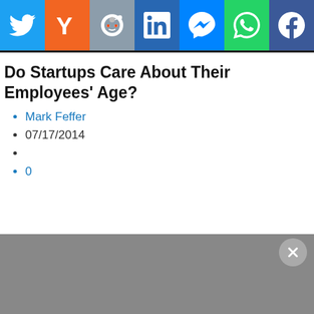[Figure (other): Social share bar with icons for Twitter, Y Combinator, Reddit, LinkedIn, Messenger, WhatsApp, and Facebook]
Do Startups Care About Their Employees’ Age?
Mark Feffer
07/17/2014
0